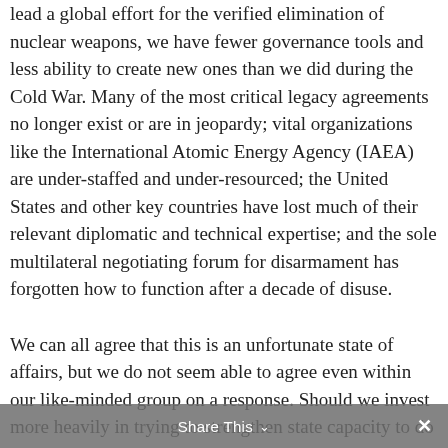lead a global effort for the verified elimination of nuclear weapons, we have fewer governance tools and less ability to create new ones than we did during the Cold War. Many of the most critical legacy agreements no longer exist or are in jeopardy; vital organizations like the International Atomic Energy Agency (IAEA) are under-staffed and under-resourced; the United States and other key countries have lost much of their relevant diplomatic and technical expertise; and the sole multilateral negotiating forum for disarmament has forgotten how to function after a decade of disuse.

We can all agree that this is an unfortunate state of affairs, but we do not seem able to agree even within our like-minded group on a response. Should we invest more heavily in trying to strengthen state capacity to do governance activities that only states can do—such as negotiate and implement legally binding agreements and operate inter-governmental organizations with
Share This ∨  ✕